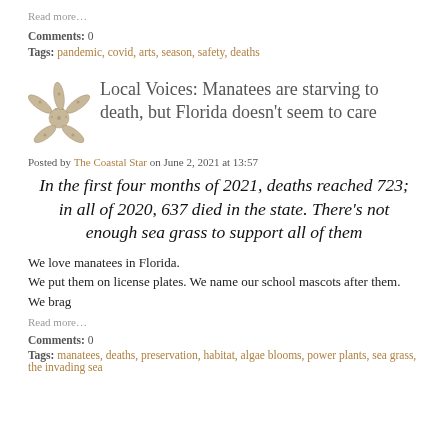Read more…
Comments: 0
Tags: pandemic, covid, arts, season, safety, deaths
Local Voices: Manatees are starving to death, but Florida doesn't seem to care
Posted by The Coastal Star on June 2, 2021 at 13:57
In the first four months of 2021, deaths reached 723; in all of 2020, 637 died in the state. There's not enough sea grass to support all of them
We love manatees in Florida.
We put them on license plates. We name our school mascots after them. We brag
Read more…
Comments: 0
Tags: manatees, deaths, preservation, habitat, algae blooms, power plants, sea grass, the invading sea